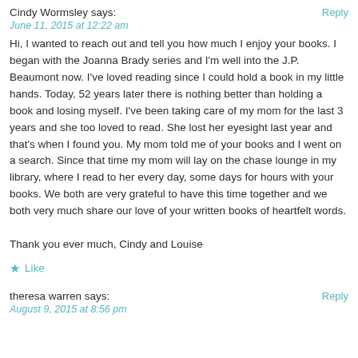Cindy Wormsley says:
Reply
June 11, 2015 at 12:22 am
Hi, I wanted to reach out and tell you how much I enjoy your books. I began with the Joanna Brady series and I'm well into the J.P. Beaumont now. I've loved reading since I could hold a book in my little hands. Today, 52 years later there is nothing better than holding a book and losing myself. I've been taking care of my mom for the last 3 years and she too loved to read. She lost her eyesight last year and that's when I found you. My mom told me of your books and I went on a search. Since that time my mom will lay on the chase lounge in my library, where I read to her every day, some days for hours with your books. We both are very grateful to have this time together and we both very much share our love of your written books of heartfelt words.

Thank you ever much, Cindy and Louise
Like
theresa warren says:
Reply
August 9, 2015 at 8:56 pm